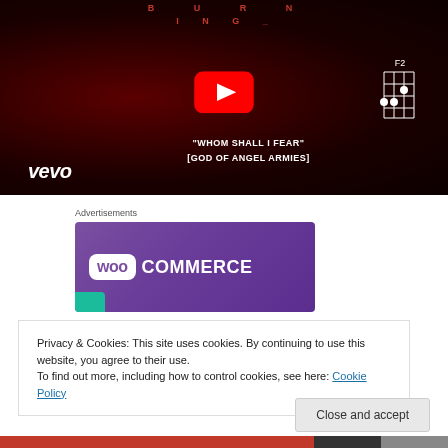[Figure (screenshot): YouTube video thumbnail showing 'Whom Shall I Fear [God of Angel Armies]' with Vevo branding, dark red background with bokeh lights, YouTube play button, and a guitar chord diagram (F2) in the top right corner.]
Advertisements
[Figure (screenshot): WooCommerce advertisement banner with purple gradient background, WooCommerce logo in white text with woo badge, and a teal accent at the bottom left.]
Privacy & Cookies: This site uses cookies. By continuing to use this website, you agree to their use.
To find out more, including how to control cookies, see here: Cookie Policy
Close and accept